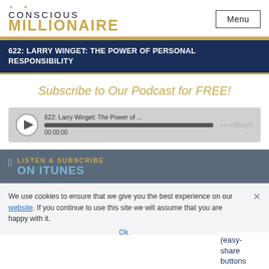CONSCIOUS MILLIONAIRE | Menu
622: LARRY WINGET: THE POWER OF PERSONAL RESPONSIBILITY
Subscribe to Our Podcast for FREE!
[Figure (other): Audio player widget showing '622: Larry Winget: The Power of ...' with play button, progress bar at 00:00:00, and Libsyn branding]
LISTEN & SUBSCRIBE ON ITUNES
We use cookies to ensure that we give you the best experience on our website. If you continue to use this site we will assume that you are happy with it.
Ok
LISTEN & SUBSCRIBE
(easy- share buttons